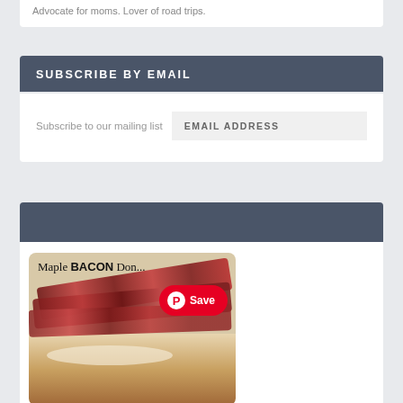Advocate for moms. Lover of road trips.
SUBSCRIBE BY EMAIL
Subscribe to our mailing list   EMAIL ADDRESS
[Figure (photo): Photo of a maple bacon donut with strips of bacon on top, with a Pinterest Save button overlay. Text reads 'Maple BACON Do...' in the image.]